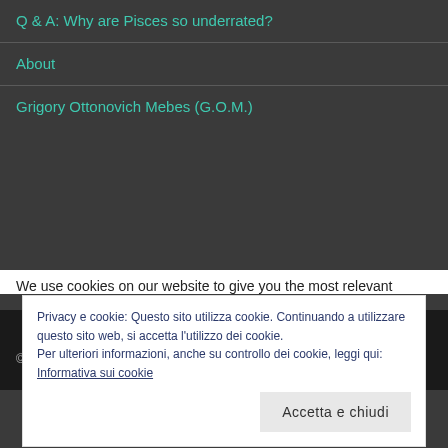Q & A: Why are Pisces so underrated?
About
Grigory Ottonovich Mebes (G.O.M.)
© 2020 - 2022 Daniele Duretto
We use cookies on our website to give you the most relevant
Privacy e cookie: Questo sito utilizza cookie. Continuando a utilizzare questo sito web, si accetta l'utilizzo dei cookie.
Per ulteriori informazioni, anche su controllo dei cookie, leggi qui:
Informativa sui cookie
Accetta e chiudi